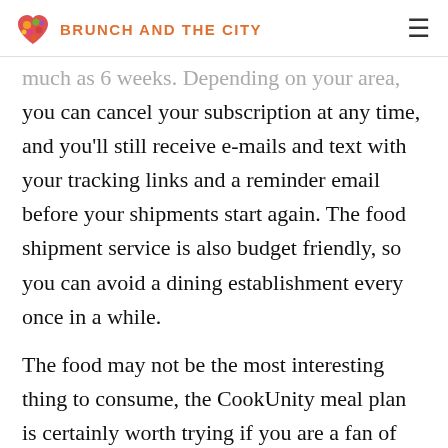BRUNCH AND THE CITY
much as 6 weeks. Depending on your area, you can cancel your subscription at any time, and you'll still receive e-mails and text with your tracking links and a reminder email before your shipments start again. The food shipment service is also budget friendly, so you can avoid a dining establishment every once in a while.
The food may not be the most interesting thing to consume, the CookUnity meal plan is certainly worth trying if you are a fan of celebrity chefs. The company has actually